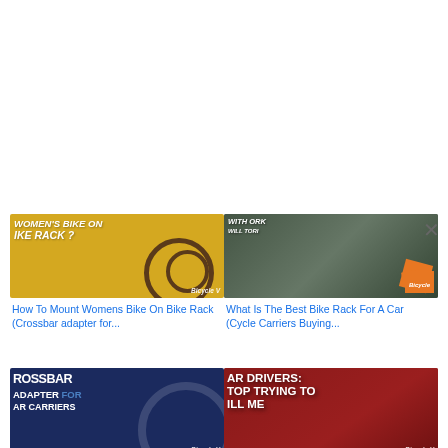[Figure (screenshot): Thumbnail image: yellow background with bicycle and text 'WOMEN'S BIKE ON IKE RACK?' with Bicycle V watermark]
How To Mount Womens Bike On Bike Rack (Crossbar adapter for...
[Figure (screenshot): Thumbnail image: dark background with bike rack on car and orange Bicycle badge]
What Is The Best Bike Rack For A Car (Cycle Carriers Buying...
[Figure (screenshot): Thumbnail image: navy blue background with text 'CROSSBAR ADAPTER FOR AR CARRIERS' and Bicycle V watermark]
Crossbar Adapter For Car
[Figure (screenshot): Thumbnail image: red background with text 'AR DRIVERS: TOP TRYING TO ILL ME' and Bicycle V watermark]
Car Drivers: Please, Stop